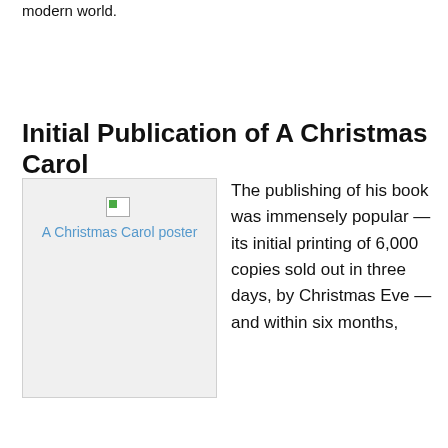modern world.
Initial Publication of A Christmas Carol
[Figure (illustration): A Christmas Carol poster placeholder image with broken image icon and blue link text label]
The publishing of his book was immensely popular — its initial printing of 6,000 copies sold out in three days, by Christmas Eve — and within six months,